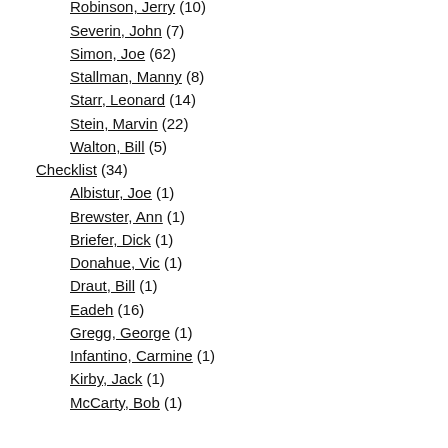Riley, Ken (2)
Robinson, Jerry (10)
Severin, John (7)
Simon, Joe (62)
Stallman, Manny (8)
Starr, Leonard (14)
Stein, Marvin (22)
Walton, Bill (5)
Checklist (34)
Albistur, Joe (1)
Brewster, Ann (1)
Briefer, Dick (1)
Donahue, Vic (1)
Draut, Bill (1)
Eadeh (16)
Gregg, George (1)
Infantino, Carmine (1)
Kirby, Jack (1)
McCarty, Bob (1)